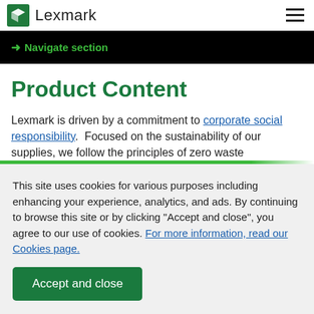Lexmark
→ Navigate section
Product Content
Lexmark is driven by a commitment to corporate social responsibility.  Focused on the sustainability of our supplies, we follow the principles of zero waste
This site uses cookies for various purposes including enhancing your experience, analytics, and ads. By continuing to browse this site or by clicking "Accept and close", you agree to our use of cookies. For more information, read our Cookies page.
Accept and close